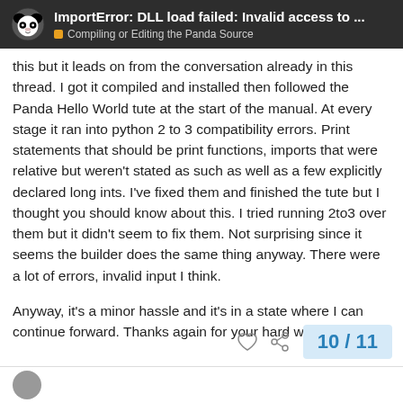ImportError: DLL load failed: Invalid access to ... | Compiling or Editing the Panda Source
this but it leads on from the conversation already in this thread. I got it compiled and installed then followed the Panda Hello World tute at the start of the manual. At every stage it ran into python 2 to 3 compatibility errors. Print statements that should be print functions, imports that were relative but weren't stated as such as well as a few explicitly declared long ints. I've fixed them and finished the tute but I thought you should know about this. I tried running 2to3 over them but it didn't seem to fix them. Not surprising since it seems the builder does the same thing anyway. There were a lot of errors, invalid input I think.
Anyway, it's a minor hassle and it's in a state where I can continue forward. Thanks again for your hard work.
10 / 11